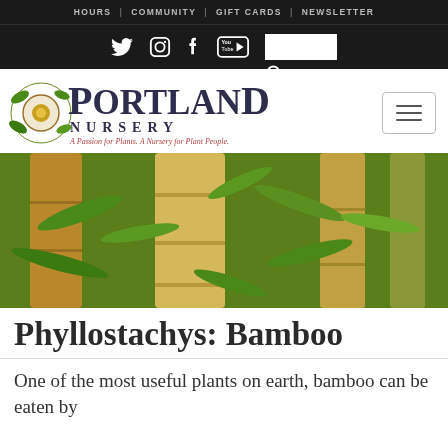HOURS | COMMUNITY | GIFT CARDS | NEWSLETTER
[Figure (logo): Portland Nursery logo with social media icons (Twitter, Instagram, Facebook, YouTube), search box and search icon on dark background]
[Figure (logo): Portland Nursery logo — decorative plant illustration with text 'PORTLAND NURSERY' and tagline 'A Passion for Plants. A Nursery for Plant People.' with hamburger menu icon]
[Figure (photo): Close-up photograph of bamboo stalks (Phyllostachys) showing golden/tan culms with green leaves]
Phyllostachys: Bamboo
One of the most useful plants on earth, bamboo can be eaten by